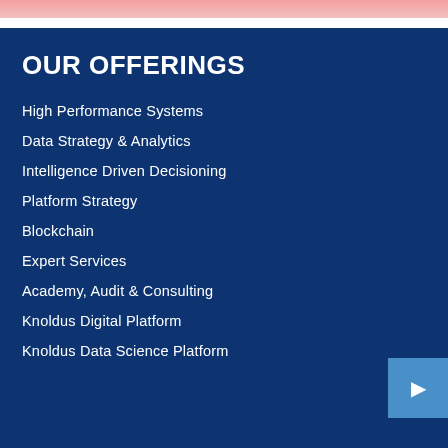OUR OFFERINGS
High Performance Systems
Data Strategy & Analytics
Intelligence Driven Decisioning
Platform Strategy
Blockchain
Expert Services
Academy, Audit & Consulting
Knoldus Digital Platform
Knoldus Data Science Platform